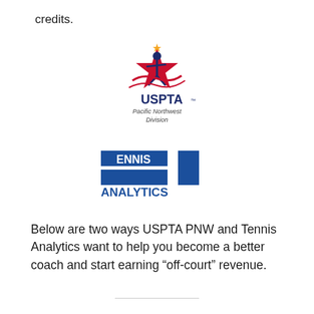credits.
[Figure (logo): USPTA Pacific Northwest Division logo — a stylized star with a tennis player figure in navy and red, with 'USPTA' text and 'Pacific Northwest Division' below]
[Figure (logo): Tennis Analytics logo — blue rectangular blocks forming a 'T' shape with 'TENNIS ANALYTICS' text in white and blue]
Below are two ways USPTA PNW and Tennis Analytics want to help you become a better coach and start earning “off-court” revenue.